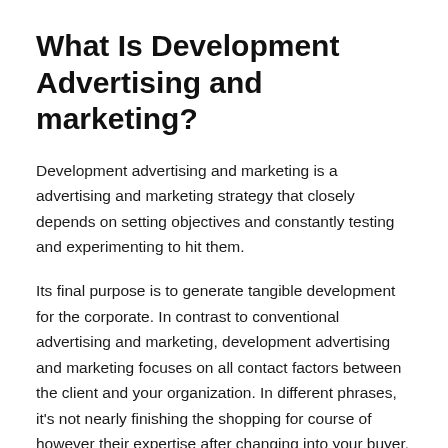What Is Development Advertising and marketing?
Development advertising and marketing is a advertising and marketing strategy that closely depends on setting objectives and constantly testing and experimenting to hit them.
Its final purpose is to generate tangible development for the corporate. In contrast to conventional advertising and marketing, development advertising and marketing focuses on all contact factors between the client and your organization. In different phrases, it's not nearly finishing the shopping for course of however their expertise after changing into your buyer.